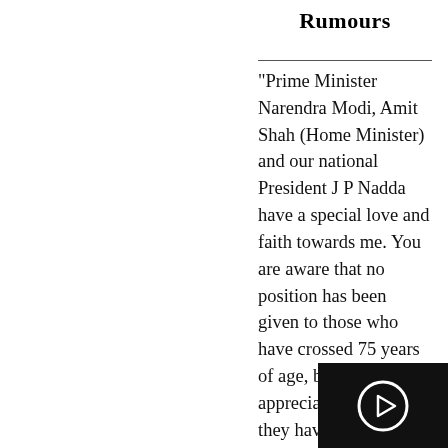Rumours
"Prime Minister Narendra Modi, Amit Shah (Home Minister) and our national President J P Nadda have a special love and faith towards me. You are aware that no position has been given to those who have crossed 75 years of age, but appreciating my work they have given me an opportunity despite me crossing 78 years," Yediyurappa sa[id]

Speaking to reporters